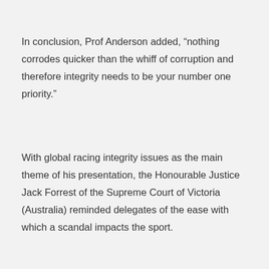In conclusion, Prof Anderson added, “nothing corrodes quicker than the whiff of corruption and therefore integrity needs to be your number one priority.”
With global racing integrity issues as the main theme of his presentation, the Honourable Justice Jack Forrest of the Supreme Court of Victoria (Australia) reminded delegates of the ease with which a scandal impacts the sport.